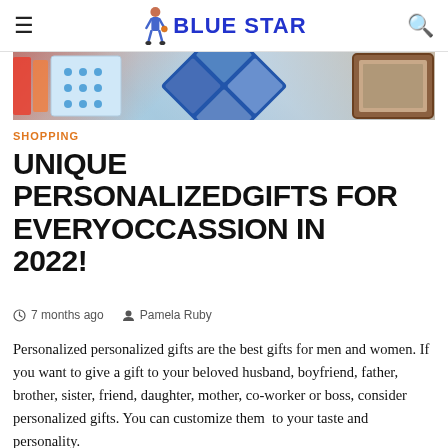BLUE STAR
[Figure (photo): Hero image showing personalized gifts including photo collage, patterned items, and framed pictures on a light background]
SHOPPING
UNIQUE PERSONALIZEDGIFTS FOR EVERYOCCASSION IN 2022!
7 months ago  Pamela Ruby
Personalized personalized gifts are the best gifts for men and women. If you want to give a gift to your beloved husband, boyfriend, father, brother, sister, friend, daughter, mother, co-worker or boss, consider personalized gifts. You can customize them to your taste and personality.